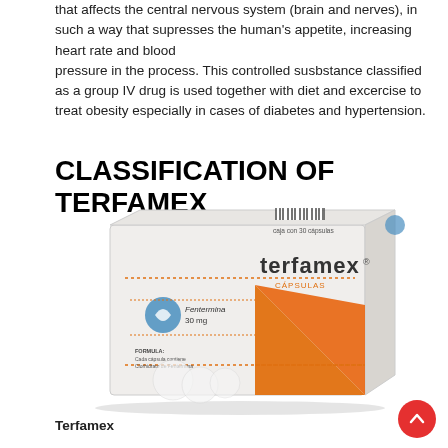that affects the central nervous system (brain and nerves), in such a way that supresses the human's appetite, increasing heart rate and blood pressure in the process. This controlled susbstance classified as a group IV drug is used together with diet and excercise to treat obesity especially in cases of diabetes and hypertension.
CLASSIFICATION OF TERFAMEX
[Figure (photo): Photo of a Terfamex (Fentermina 30 mg) capsule medication box, white and orange packaging with dotted orange lines and a triangular orange design on the front, with a blue logo mark.]
Terfamex